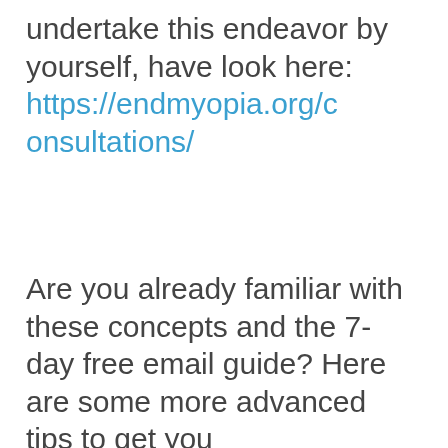undertake this endeavor by yourself, have look here: https://endmyopia.org/consultations/
Are you already familiar with these concepts and the 7-day free email guide? Here are some more advanced tips to get you